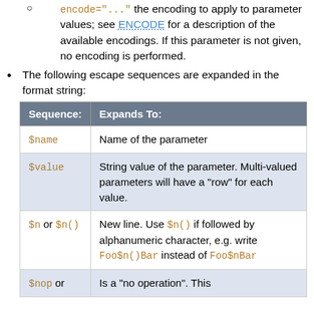encode="..." the encoding to apply to parameter values; see ENCODE for a description of the available encodings. If this parameter is not given, no encoding is performed.
The following escape sequences are expanded in the format string:
| Sequence: | Expands To: |
| --- | --- |
| $name | Name of the parameter |
| $value | String value of the parameter. Multi-valued parameters will have a "row" for each value. |
| $n or $n() | New line. Use $n() if followed by alphanumeric character, e.g. write Foo$n()Bar instead of Foo$nBar |
| $nop or | Is a "no operation". This |